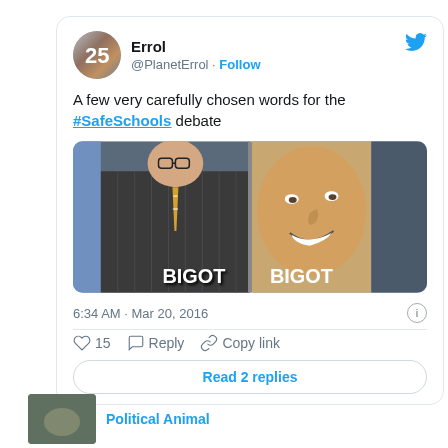[Figure (screenshot): Embedded tweet from @PlanetErrol showing a meme with two people labeled 'BIGOT' related to the #SafeSchools debate, dated 6:34 AM Mar 20, 2016, with 15 likes, Reply, Copy link, and Read 2 replies button.]
A few very carefully chosen words for the #SafeSchools debate
[Figure (photo): Composite meme image with two panels each showing a person labeled BIGOT in bold white text]
6:34 AM · Mar 20, 2016
15   Reply   Copy link
Read 2 replies
Political Animal